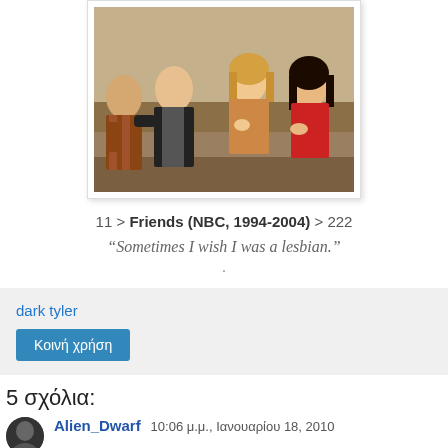[Figure (photo): Screenshot from the TV show Friends showing four cast members sitting together looking surprised or shocked]
11 > Friends (NBC, 1994-2004) > 222
“Sometimes I wish I was a lesbian.”
.
dark tyler
Κοινή χρήση
5 σχόλια:
Alien_Dwarf 10:06 μ.μ., Ιανουαρίου 18, 2010